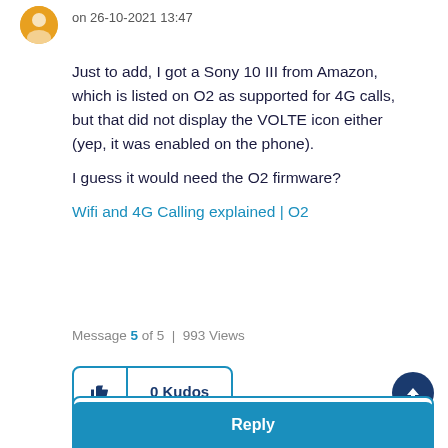on 26-10-2021 13:47
Just to add, I got a Sony 10 III from Amazon, which is listed on O2 as supported for 4G calls, but that did not display the VOLTE icon either (yep, it was enabled on the phone).
I guess it would need the O2 firmware?
Wifi and 4G Calling explained | O2
Message 5 of 5  |  993 Views
0 Kudos
Share
Reply